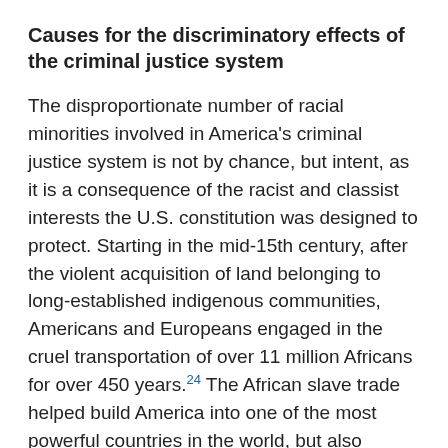Causes for the discriminatory effects of the criminal justice system
The disproportionate number of racial minorities involved in America's criminal justice system is not by chance, but intent, as it is a consequence of the racist and classist interests the U.S. constitution was designed to protect. Starting in the mid-15th century, after the violent acquisition of land belonging to long-established indigenous communities, Americans and Europeans engaged in the cruel transportation of over 11 million Africans for over 450 years.24 The African slave trade helped build America into one of the most powerful countries in the world, but also created a patriarchal society that reified racial discrimination by the creation of racial identities. These racial identities were used by the rich, White elites to create artificial divisions amongst the masses to pit them against each other, and not their rulers. The Populist leader from